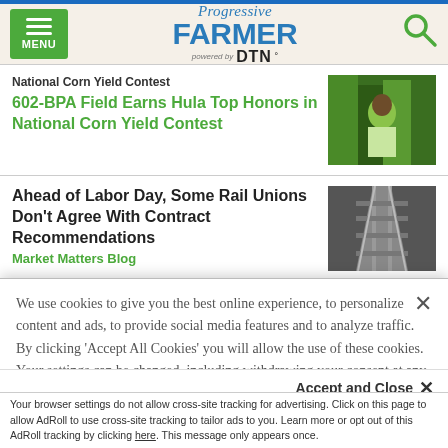Progressive FARMER powered by DTN
National Corn Yield Contest
602-BPA Field Earns Hula Top Honors in National Corn Yield Contest
Ahead of Labor Day, Some Rail Unions Don't Agree With Contract Recommendations
Market Matters Blog
We use cookies to give you the best online experience, to personalize content and ads, to provide social media features and to analyze traffic. By clicking 'Accept All Cookies' you will allow the use of these cookies. Your settings can be changed, including withdrawing your consent at any time, by clicking 'Cookie Settings'. Find out more on how we and third parties use cookies in our  Cookie Policy
Accept and Close ×
Your browser settings do not allow cross-site tracking for advertising. Click on this page to allow AdRoll to use cross-site tracking to tailor ads to you. Learn more or opt out of this AdRoll tracking by clicking here. This message only appears once.